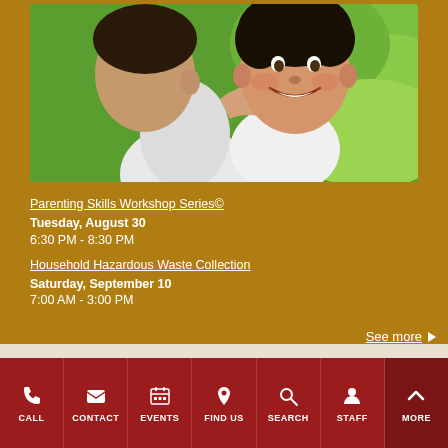[Figure (photo): A man and a young boy hugging outdoors; the smiling child has his arms around the adult's neck, with a green garden background.]
Parenting Skills Workshop Series©
Tuesday, August 30
6:30 PM - 8:30 PM
Household Hazardous Waste Collection
Saturday, September 10
7:00 AM - 3:00 PM
See more ▶
CALL  CONTACT  EVENTS  FIND US  SEARCH  STAFF  MORE